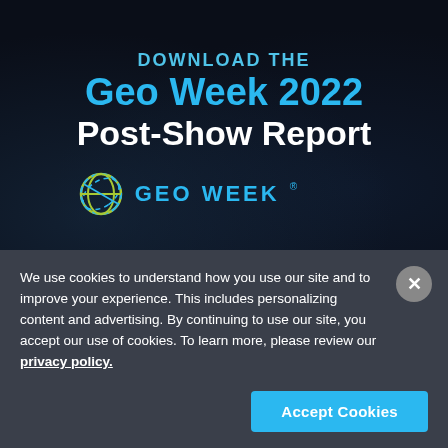[Figure (screenshot): Dark-themed promotional banner with text 'DOWNLOAD THE Geo Week 2022 Post-Show Report' with Geo Week logo (stylized globe icon and text 'GEO WEEK') on a dark background with subtle city imagery]
We use cookies to understand how you use our site and to improve your experience. This includes personalizing content and advertising. By continuing to use our site, you accept our use of cookies. To learn more, please review our privacy policy.